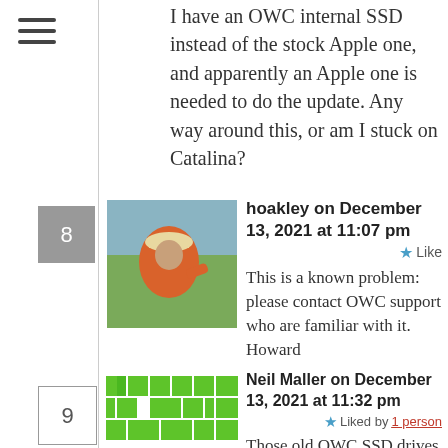[Figure (other): Hamburger menu icon (three horizontal lines)]
I have an OWC internal SSD instead of the stock Apple one, and apparently an Apple one is needed to do the update. Any way around this, or am I stuck on Catalina?
8
[Figure (photo): Avatar photo of hoakley: person in orange jacket and hat in outdoor setting]
hoakley on December 13, 2021 at 11:07 pm
★ Like
This is a known problem: please contact OWC support who are familiar with it.
Howard
9
[Figure (other): Green pixelated/mosaic avatar icon for Neil Maller]
Neil Maller on December 13, 2021 at 11:32 pm
★ Liked by 1 person
Those old OWC SSD drives are a